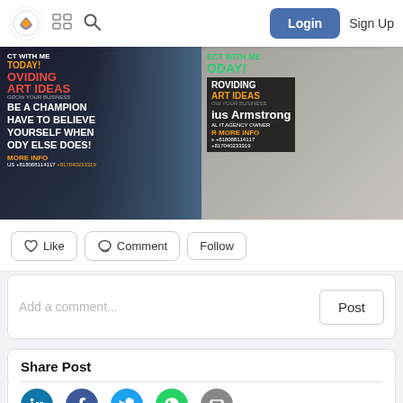Login  Sign Up
[Figure (photo): Social media post banner showing businessmen with motivational text: CONNECT WITH ME TODAY! PROVIDING SMART IDEAS GROW YOUR BUSINESS BE A CHAMPION HAVE TO BELIEVE YOURSELF WHEN NOBODY ELSE DOES! MORE INFO +818088114117 +817040233319]
Like  Comment  Follow
Add a comment...  Post
Share Post
[Figure (infographic): Social share icons: LinkedIn, Facebook, Twitter, WhatsApp, Email]